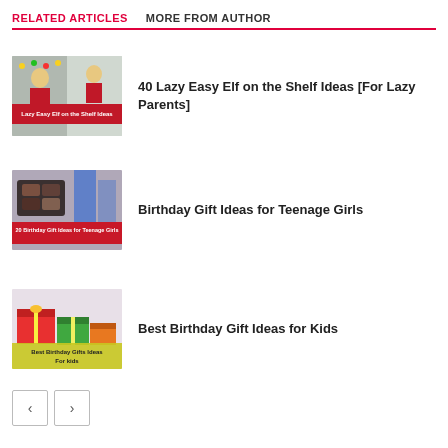RELATED ARTICLES   MORE FROM AUTHOR
[Figure (photo): Thumbnail image for 40 Lazy Easy Elf on the Shelf Ideas article, showing elves and Christmas decorations with red banner text 'Lazy Easy Elf on the Shelf Ideas']
40 Lazy Easy Elf on the Shelf Ideas [For Lazy Parents]
[Figure (photo): Thumbnail image for Birthday Gift Ideas for Teenage Girls article, showing makeup palette and fashion items with red banner '20 Birthday Gift Ideas for Teenage Girls']
Birthday Gift Ideas for Teenage Girls
[Figure (photo): Thumbnail image for Best Birthday Gift Ideas for Kids article, showing colorful wrapped gifts with yellow/green banner 'Best Birthday Gifts Ideas For kids']
Best Birthday Gift Ideas for Kids